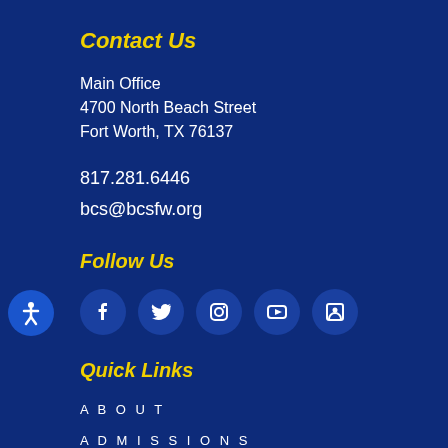Contact Us
Main Office
4700 North Beach Street
Fort Worth, TX 76137
817.281.6446
bcs@bcsfw.org
Follow Us
[Figure (infographic): Row of 5 social media icons (Facebook, Twitter, Instagram, YouTube, contact/person) as white icons on dark blue circles]
Quick Links
ABOUT
ADMISSIONS